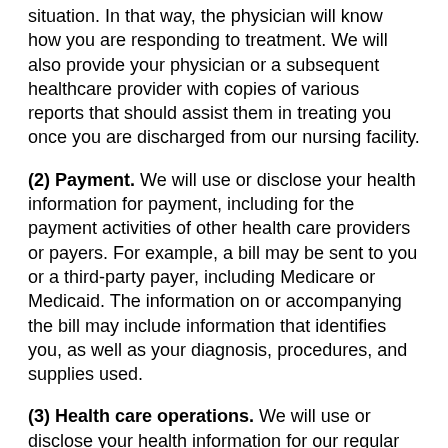situation. In that way, the physician will know how you are responding to treatment. We will also provide your physician or a subsequent healthcare provider with copies of various reports that should assist them in treating you once you are discharged from our nursing facility.
(2) Payment. We will use or disclose your health information for payment, including for the payment activities of other health care providers or payers. For example, a bill may be sent to you or a third-party payer, including Medicare or Medicaid. The information on or accompanying the bill may include information that identifies you, as well as your diagnosis, procedures, and supplies used.
(3) Health care operations. We will use or disclose your health information for our regular health operations. For example, members of the medical staff, the risk or quality improvement manager, or members of the quality improvement team may use information in your health record to assess the